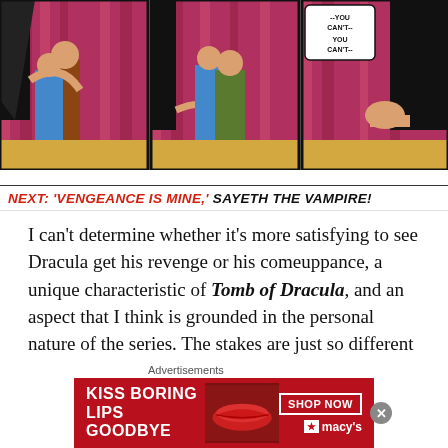[Figure (illustration): Comic book panels showing Dracula in a cape interacting with characters near pink/magenta curtains. Three panels: left shows Dracula embracing someone, middle shows figures with curtains, right shows a hand and speech bubble saying '--YOU CAN'T-- YOU CAN'T--']
NEXT: 'VENGEANCE IS MINE,' SAYETH the VAMPIRE!
I can't determine whether it's more satisfying to see Dracula get his revenge or his comeuppance, a unique characteristic of Tomb of Dracula, and an aspect that I think is grounded in the personal nature of the series. The stakes are just so different here from other Marvel books, owing to Marv Wolfman's rich characterizations, and Gene
[Figure (photo): Advertisement banner: 'KISS BORING LIPS GOODBYE' with image of woman's lips, SHOP NOW button and Macy's logo]